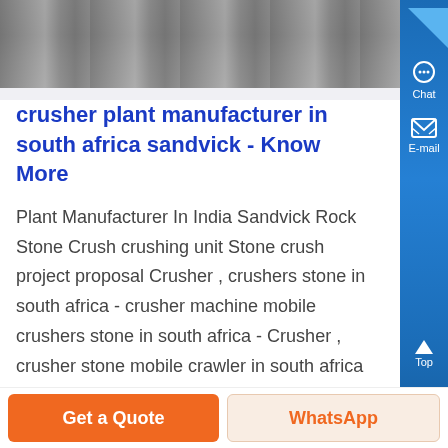[Figure (photo): Industrial crusher machinery photo at top of page]
crusher plant manufacturer in south africa sandvick - Know More
Plant Manufacturer In India Sandvick Rock Stone Crusher crushing unit Stone crush project proposal Crusher , crushers stone in south africa - crusher machine mobile crushers stone in south africa - Crusher , crusher stone mobile crawler in south africa Crusher plant manufacturer of Caiman Machinery Company is good at stone mining